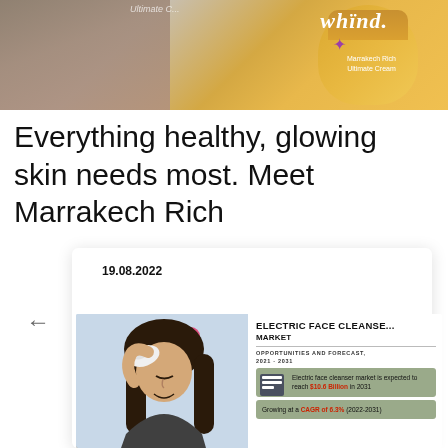[Figure (photo): Product image showing whind Marrakech Rich Ultimate Cream in golden jar with dark textured background on left side]
Everything healthy, glowing skin needs most. Meet Marrakech Rich
19.08.2022
[Figure (infographic): Composite image: left shows woman using electric face cleanser device on forehead with hair rollers; right shows Electric Face Cleanser Market infographic with heading 'ELECTRIC FACE CLEANSER MARKET', 'OPPORTUNITIES AND FORECAST, 2021 - 2031', two green boxes stating market expected to reach $10.6 Billion in 2031 and growing at CAGR of 6.3% (2022-2031)]